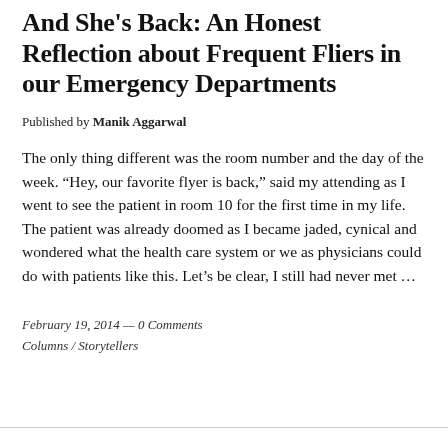And She's Back: An Honest Reflection about Frequent Fliers in our Emergency Departments
Published by Manik Aggarwal
The only thing different was the room number and the day of the week. “Hey, our favorite flyer is back,” said my attending as I went to see the patient in room 10 for the first time in my life. The patient was already doomed as I became jaded, cynical and wondered what the health care system or we as physicians could do with patients like this. Let’s be clear, I still had never met …
February 19, 2014 — 0 Comments
Columns / Storytellers